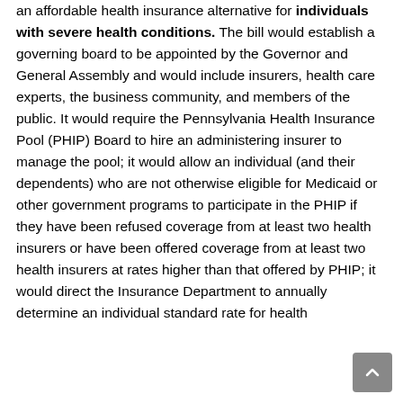an affordable health insurance alternative for individuals with severe health conditions. The bill would establish a governing board to be appointed by the Governor and General Assembly and would include insurers, health care experts, the business community, and members of the public. It would require the Pennsylvania Health Insurance Pool (PHIP) Board to hire an administering insurer to manage the pool; it would allow an individual (and their dependents) who are not otherwise eligible for Medicaid or other government programs to participate in the PHIP if they have been refused coverage from at least two health insurers or have been offered coverage from at least two health insurers at rates higher than that offered by PHIP; it would direct the Insurance Department to annually determine an individual standard rate for health